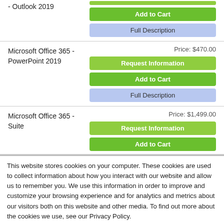- Outlook 2019
Add to Cart
Full Description
Microsoft Office 365 - PowerPoint 2019
Price: $470.00
Request Information
Add to Cart
Full Description
Microsoft Office 365 - Suite
Price: $1,499.00
Request Information
Add to Cart
This website stores cookies on your computer. These cookies are used to collect information about how you interact with our website and allow us to remember you. We use this information in order to improve and customize your browsing experience and for analytics and metrics about our visitors both on this website and other media. To find out more about the cookies we use, see our Privacy Policy.
Accept